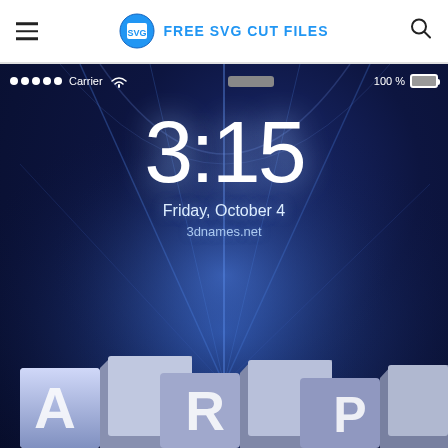FREE SVG CUT FILES
[Figure (screenshot): iPhone lock screen screenshot showing time 3:15, date Friday, October 4, and 3dnames.net watermark, with 3D block letters at the bottom and a dark blue glowing background. Status bar shows Carrier, wifi, 100% battery.]